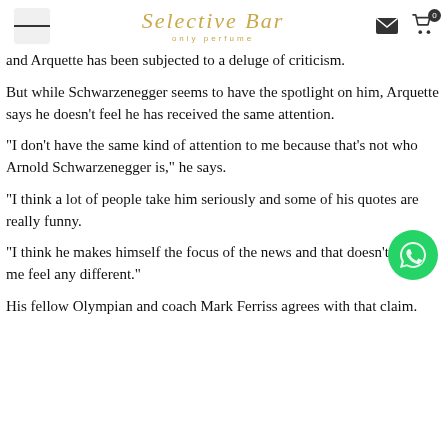Selective Bar — only perfume
and Arquette has been subjected to a deluge of criticism.
But while Schwarzenegger seems to have the spotlight on him, Arquette says he doesn't feel he has received the same attention.
"I don't have the same kind of attention to me because that's not who Arnold Schwarzenegger is," he says.
"I think a lot of people take him seriously and some of his quotes are really funny.
"I think he makes himself the focus of the news and that doesn't make me feel any different."
His fellow Olympian and coach Mark Ferriss agrees with that claim.